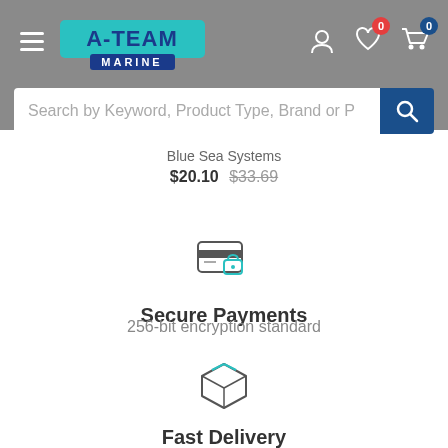[Figure (screenshot): A-Team Marine website header with hamburger menu, logo, user/wishlist/cart icons, and a search bar]
Blue Sea Systems
$20.10  $33.69
[Figure (illustration): Secure payments icon: credit card with lock]
Secure Payments
256-bit encryption standard
[Figure (illustration): Fast delivery icon: package/box]
Fast Delivery